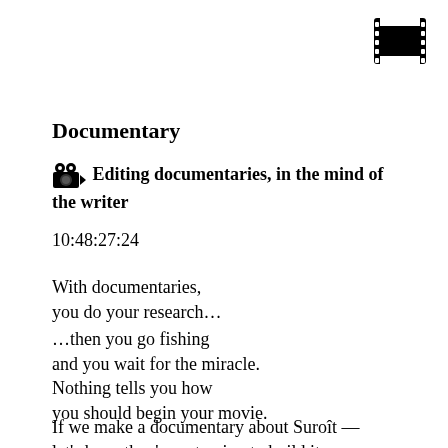[Figure (illustration): Film strip icon in top right corner]
Documentary
🎥 Editing documentaries, in the mind of the writer
10:48:27:24
With documentaries,
you do your research…
…then you go fishing
and you wait for the miracle.
Nothing tells you how
you should begin your movie.
If we make a documentary about Suroît —
let's hope they're not going to build it.